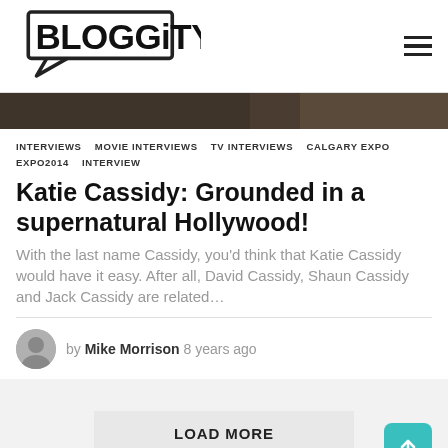BLOGGiTY
[Figure (photo): Dark hero image strip showing partial portrait, dark tones]
INTERVIEWS   MOVIE INTERVIEWS   TV INTERVIEWS   CALGARY EXPO   EXPO2014   INTERVIEW
Katie Cassidy: Grounded in a supernatural Hollywood!
With the last name Cassidy, you'd think that Katie Cassidy would have it easy. After all, David Cassidy, Shaun Cassidy and Jack Cassidy are related…
by Mike Morrison 8 years ago
LOAD MORE